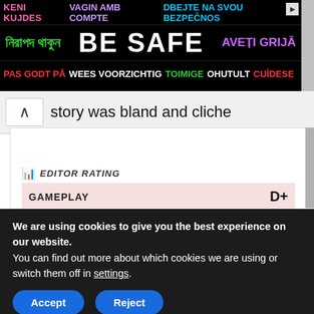[Figure (infographic): Multilingual 'Be Safe' advertisement banner with colorful text in multiple languages on black background]
story was bland and cliche
EDITOR RATING
GAMEPLAY   D+
We are using cookies to give you the best experience on our website.
You can find out more about which cookies we are using or switch them off in settings.
Accept   Reject